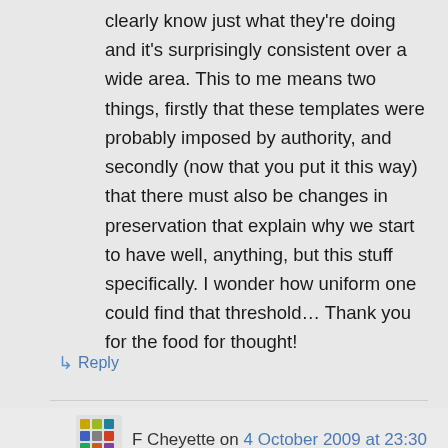clearly know just what they're doing and it's surprisingly consistent over a wide area. This to me means two things, firstly that these templates were probably imposed by authority, and secondly (now that you put it this way) that there must also be changes in preservation that explain why we start to have well, anything, but this stuff specifically. I wonder how uniform one could find that threshold… Thank you for the food for thought!
↳ Reply
F Cheyette on 4 October 2009 at 23:30